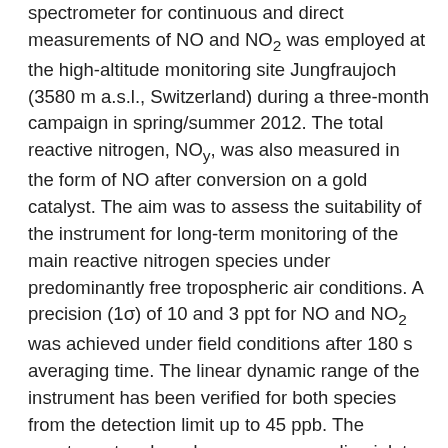spectrometer for continuous and direct measurements of NO and NO2 was employed at the high-altitude monitoring site Jungfraujoch (3580 m a.s.l., Switzerland) during a three-month campaign in spring/summer 2012. The total reactive nitrogen, NOy, was also measured in the form of NO after conversion on a gold catalyst. The aim was to assess the suitability of the instrument for long-term monitoring of the main reactive nitrogen species under predominantly free tropospheric air conditions. A precision (1σ) of 10 and 3 ppt for NO and NO2 was achieved under field conditions after 180 s averaging time. The linear dynamic range of the instrument has been verified for both species from the detection limit up to 45 ppb. The spectrometer shared a common sampling inlet with a chemiluminescence-based analyzer. The comparison of the time series shows excellent agreement between the two techniques and demonstrates the adequacy of the laser spectroscopic approach for this kind of demanding environmental applications.